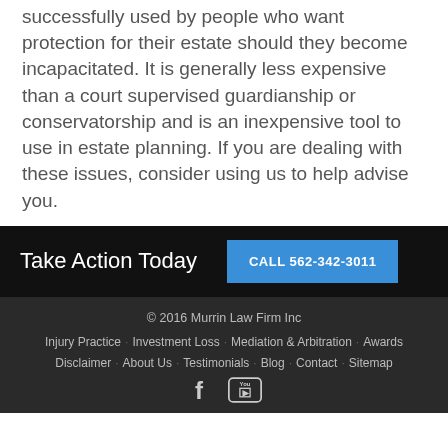member of mind, a power of attorney can be successfully used by people who want protection for their estate should they become incapacitated. It is generally less expensive than a court supervised guardianship or conservatorship and is an inexpensive tool to use in estate planning. If you are dealing with these issues, consider using us to help advise you.
Take Action Today
CALL 562-342-3011
© 2016 Murrin Law Firm Inc  Injury Practice  Investment Loss  Mediation & Arbitration  Awards  Disclaimer  About Us  Testimonials  Blog  Contact  Sitemap